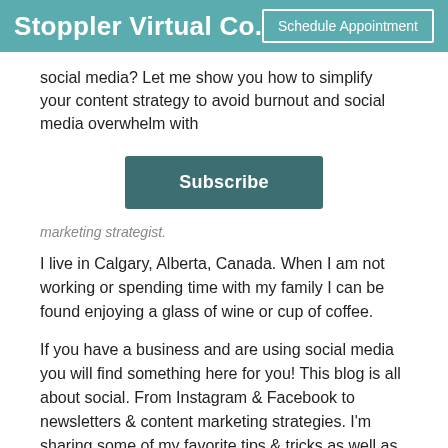Stoppler Virtual Co... | Schedule Appointment
social media? Let me show you how to simplify your content strategy to avoid burnout and social media overwhelm with
Subscribe
marketing strategist.
I live in Calgary, Alberta, Canada. When I am not working or spending time with my family I can be found enjoying a glass of wine or cup of coffee.
If you have a business and are using social media you will find something here for you! This blog is all about social. From Instagram & Facebook to newsletters & content marketing strategies. I'm sharing some of my favorite tips & tricks as well as some of my major woes not only when it comes to social but also when it come to being a Mompreneur.